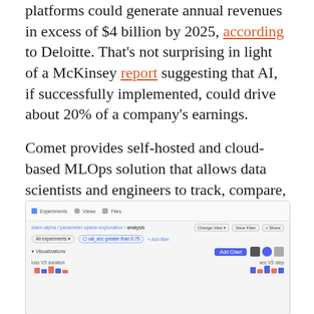platforms could generate annual revenues in excess of $4 billion by 2025, according to Deloitte. That's not surprising in light of a McKinsey report suggesting that AI, if successfully implemented, could drive about 20% of a company's earnings.
Comet provides self-hosted and cloud-based MLOps solution that allows data scientists and engineers to track, compare, and optimize experiments and models. The ostensible aim is to deliver insights and data to build better, more accurate AI models while improving productivity, collaboration, and explainability across teams.
[Figure (screenshot): Screenshot of Comet MLOps dashboard showing experiment tracking interface with breadcrumb navigation (learn-alpha / parameter-space-exploration / analysis), filter options, Visualizations section, and Add Chart button.]